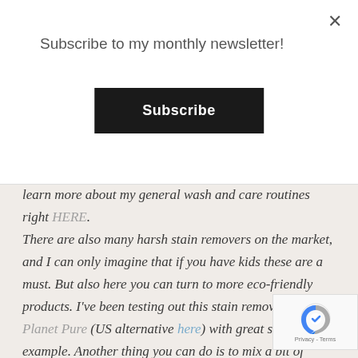Subscribe to my monthly newsletter!
Subscribe
learn more about my general wash and care routines right HERE.
There are also many harsh stain removers on the market, and I can only imagine that if you have kids these are a must. But also here you can turn to more eco-friendly products. I've been testing out this stain remover from Planet Pure (US alternative here) with great success for example. Another thing you can do is to mix a bit of water with baking soda, and then rub the paste on to the stain, leave it there for a while and then wash as
[Figure (logo): reCAPTCHA logo with Privacy - Terms text]